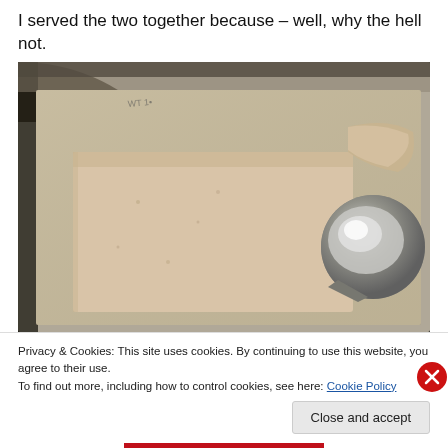I served the two together because – well, why the hell not.
[Figure (photo): A metal baking pan containing a block of pale beige/tan frozen dessert (ice cream or semifreddo), with a metal ice cream scoop resting on the right side. The pan is metallic/aluminum and the dessert has a flat, rectangular surface with scoop marks.]
Privacy & Cookies: This site uses cookies. By continuing to use this website, you agree to their use.
To find out more, including how to control cookies, see here: Cookie Policy